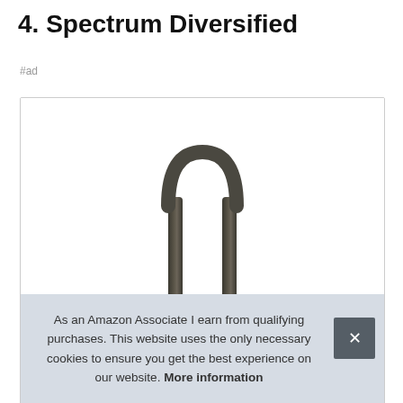4. Spectrum Diversified
#ad
[Figure (photo): Product photo showing a dark metal U-shaped towel bar or rack component against a white background, inside a bordered product listing box.]
As an Amazon Associate I earn from qualifying purchases. This website uses the only necessary cookies to ensure you get the best experience on our website. More information